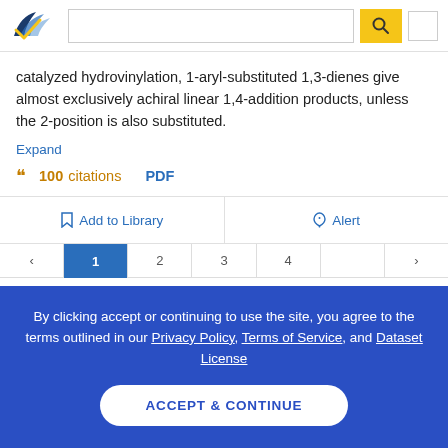Semantic Scholar search interface header with logo, search bar, and user button
catalyzed hydrovinylation, 1-aryl-substituted 1,3-dienes give almost exclusively achiral linear 1,4-addition products, unless the 2-position is also substituted.
Expand
100citations  PDF
Add to Library
Alert
By clicking accept or continuing to use the site, you agree to the terms outlined in our Privacy Policy, Terms of Service, and Dataset License
ACCEPT & CONTINUE